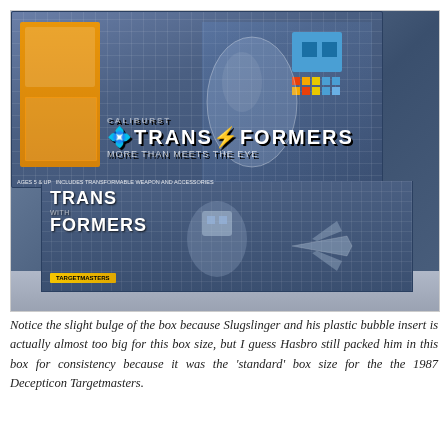[Figure (photo): A Transformers toy box (Caliburst / Slugslinger Targetmaster) photographed on a table. The box has a blue grid pattern, orange panel on the left side of the top face, show-through window, robot character art, and the TRANSFORMERS logo prominently displayed. The front of the box shows TRANS FORMERS branding and a Targetmaster badge. The box appears slightly bulged.]
Notice the slight bulge of the box because Slugslinger and his plastic bubble insert is actually almost too big for this box size, but I guess Hasbro still packed him in this box for consistency because it was the 'standard' box size for the the 1987 Decepticon Targetmasters.